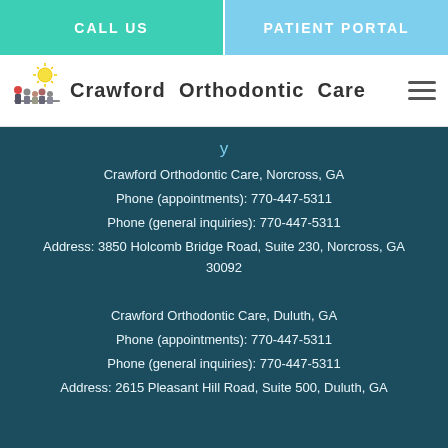CALL US | PATIENT PORTAL
[Figure (logo): Crawford Orthodontic Care logo with family illustration and sun graphic]
Crawford Orthodontic Care, Norcross, GA
Phone (appointments): 770-447-5311
Phone (general inquiries): 770-447-5311
Address: 3850 Holcomb Bridge Road, Suite 230, Norcross, GA 30092
Crawford Orthodontic Care, Duluth, GA
Phone (appointments): 770-447-5311
Phone (general inquiries): 770-447-5311
Address: 2615 Pleasant Hill Road, Suite 500, Duluth, GA